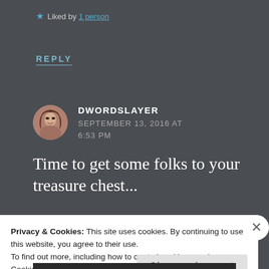★ Liked by 1 person
REPLY
DWORDSLAYER
SEPTEMBER 13, 2016 AT 6:53 PM
Time to get some folks to your treasure chest...
Privacy & Cookies: This site uses cookies. By continuing to use this website, you agree to their use.
To find out more, including how to control cookies, see here: Cookie Policy
Close and accept